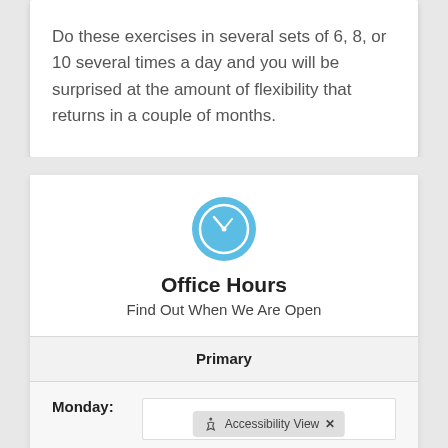Do these exercises in several sets of 6, 8, or 10 several times a day and you will be surprised at the amount of flexibility that returns in a couple of months.
[Figure (illustration): Blue circular clock icon]
Office Hours
Find Out When We Are Open
Primary
Monday: